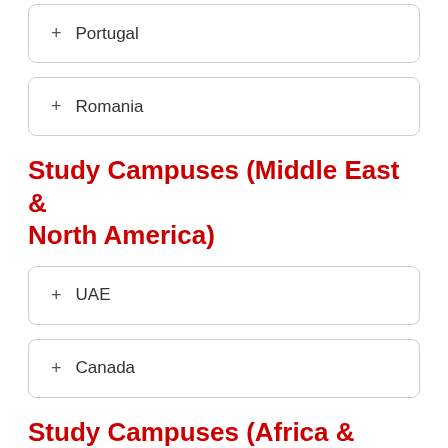+ Portugal
+ Romania
Study Campuses (Middle East & North America)
+ UAE
+ Canada
Study Campuses (Africa & South America)